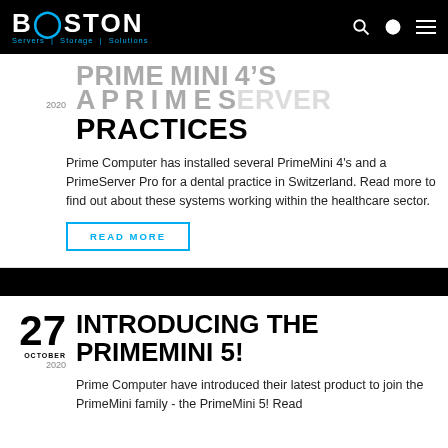BOSTON Servers | Storage | Solutions
PRACTICES
Prime Computer has installed several PrimeMini 4's and a PrimeServer Pro for a dental practice in Switzerland. Read more to find out about these systems working within the healthcare sector.
READ MORE
INTRODUCING THE PRIMEMINI 5!
Prime Computer have introduced their latest product to join the PrimeMini family - the PrimeMini 5! Read